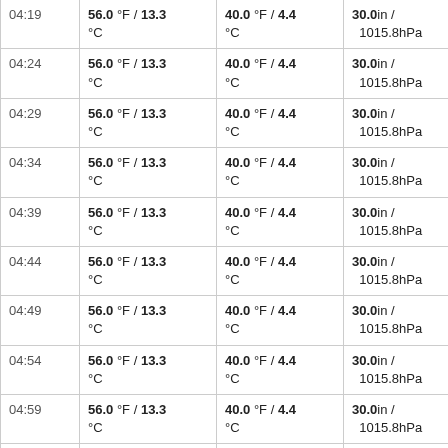| Time | Temp | Dew Point | Pressure | Wind |
| --- | --- | --- | --- | --- |
| 04:19 | 56.0 °F / 13.3 °C | 40.0 °F / 4.4 °C | 30.0in / 1015.8hPa | Calm |
| 04:24 | 56.0 °F / 13.3 °C | 40.0 °F / 4.4 °C | 30.0in / 1015.8hPa | Calm |
| 04:29 | 56.0 °F / 13.3 °C | 40.0 °F / 4.4 °C | 30.0in / 1015.8hPa | Calm |
| 04:34 | 56.0 °F / 13.3 °C | 40.0 °F / 4.4 °C | 30.0in / 1015.8hPa | Calm |
| 04:39 | 56.0 °F / 13.3 °C | 40.0 °F / 4.4 °C | 30.0in / 1015.8hPa | Calm |
| 04:44 | 56.0 °F / 13.3 °C | 40.0 °F / 4.4 °C | 30.0in / 1015.8hPa | Calm |
| 04:49 | 56.0 °F / 13.3 °C | 40.0 °F / 4.4 °C | 30.0in / 1015.8hPa | Calm |
| 04:54 | 56.0 °F / 13.3 °C | 40.0 °F / 4.4 °C | 30.0in / 1015.8hPa | Calm |
| 04:59 | 56.0 °F / 13.3 °C | 40.0 °F / 4.4 °C | 30.0in / 1015.8hPa | Calm |
| 05:04 | 56.0 °F / 13.3 °C | 39.0 °F / 3.9 °C | 30.0in / 1015.8hPa | Calm |